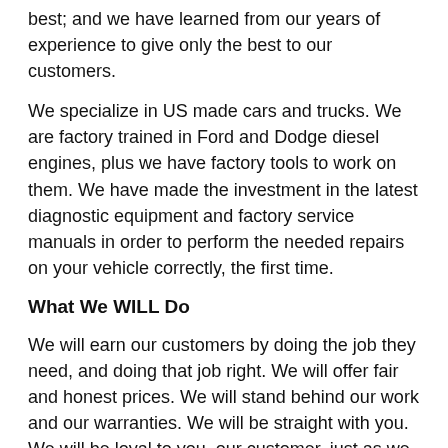best; and we have learned from our years of experience to give only the best to our customers.
We specialize in US made cars and trucks. We are factory trained in Ford and Dodge diesel engines, plus we have factory tools to work on them. We have made the investment in the latest diagnostic equipment and factory service manuals in order to perform the needed repairs on your vehicle correctly, the first time.
What We WILL Do
We will earn our customers by doing the job they need, and doing that job right. We will offer fair and honest prices. We will stand behind our work and our warranties. We will be straight with you. We will be loyal to you, our customer, just as we are loyal to this country, its flag, and the men and women who have served and continue to serve it.